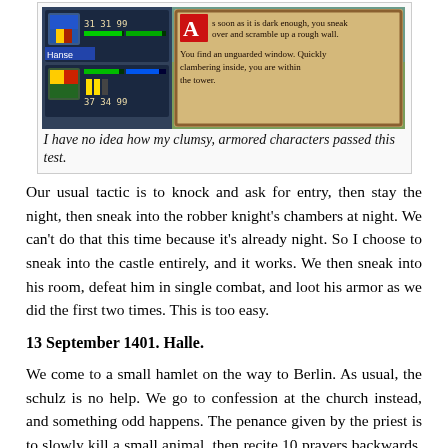[Figure (screenshot): A retro RPG game screenshot showing two character panels on the left with stats (31 31 99 and 37 34 99) labeled 'Hanse', and a text box on the right showing a game message: 'As soon as it is dark enough, you sneak over and scramble up a rough wall. You find an unguarded window. Quickly clambering inside, you are within the tower.']
I have no idea how my clumsy, armored characters passed this test.
Our usual tactic is to knock and ask for entry, then stay the night, then sneak into the robber knight's chambers at night. We can't do that this time because it's already night. So I choose to sneak into the castle entirely, and it works. We then sneak into his room, defeat him in single combat, and loot his armor as we did the first two times. This is too easy.
13 September 1401. Halle.
We come to a small hamlet on the way to Berlin. As usual, the schulz is no help. We go to confession at the church instead, and something odd happens. The penance given by the priest is to slowly kill a small animal, then recite 10 prayers backwards, then drink so much sacramental wine that we pass out. Needless to say, the party declines to perform this so-called penance.